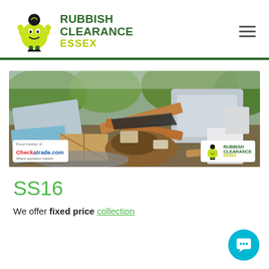[Figure (logo): Rubbish Clearance Essex logo with green mascot character holding rubbish, text reads RUBBISH CLEARANCE in dark green and ESSEX in yellow-green]
[Figure (photo): Hero banner photo showing a pile of rubbish and construction debris including wood panels, foam, dirt, and various waste materials outdoors. Checkatrade.com badge in bottom left, Rubbish Clearance Essex logo in bottom right.]
SS16
We offer fixed price collection